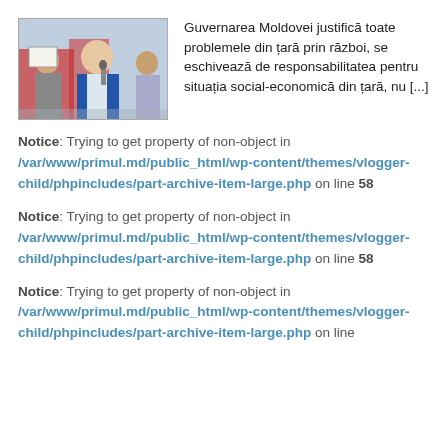[Figure (photo): A man in a blue suit speaking into a microphone at an outdoor rally, with other people and flags visible behind him.]
Guvernarea Moldovei justifică toate problemele din țară prin război, se eschivează de responsabilitatea pentru situația social-economică din țară, nu [...]
Notice: Trying to get property of non-object in /var/www/primul.md/public_html/wp-content/themes/vlogger-child/phpincludes/part-archive-item-large.php on line 58
Notice: Trying to get property of non-object in /var/www/primul.md/public_html/wp-content/themes/vlogger-child/phpincludes/part-archive-item-large.php on line 58
Notice: Trying to get property of non-object in /var/www/primul.md/public_html/wp-content/themes/vlogger-child/phpincludes/part-archive-item-large.php on line 58